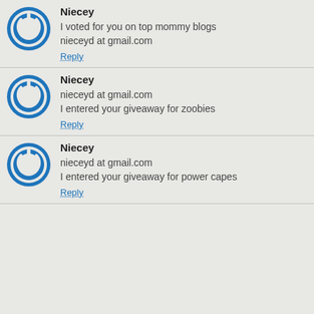Niecey
I voted for you on top mommy blogs
nieceyd at gmail.com
Reply
Niecey
nieceyd at gmail.com
I entered your giveaway for zoobies
Reply
Niecey
nieceyd at gmail.com
I entered your giveaway for power capes
Reply